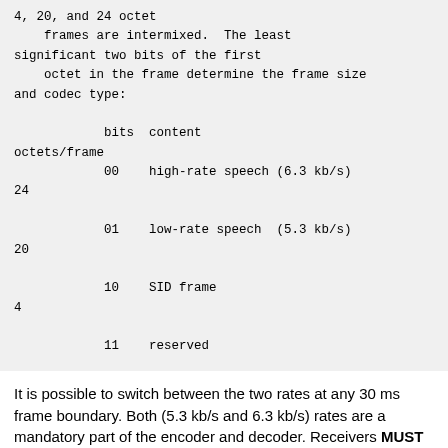4, 20, and 24 octet
    frames are intermixed.  The least
significant two bits of the first
    octet in the frame determine the frame size
and codec type:

            bits  content                 octets/frame
            00    high-rate speech (6.3 kb/s)    24

            01    low-rate speech  (5.3 kb/s)    20

            10    SID frame                       4

            11    reserved
It is possible to switch between the two rates at any 30 ms frame boundary. Both (5.3 kb/s and 6.3 kb/s) rates are a mandatory part of the encoder and decoder. Receivers MUST accept both data rates and MUST accept SID frames unless restriction of these capabilities has been signaled.